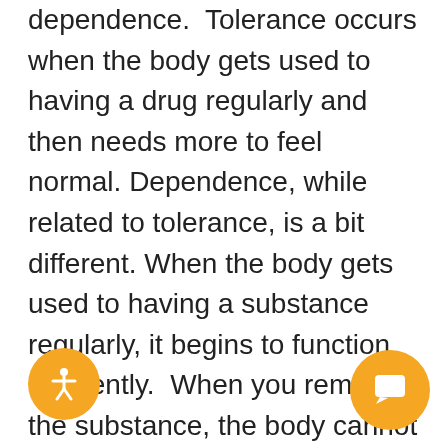dependence.  Tolerance occurs when the body gets used to having a drug regularly and then needs more to feel normal. Dependence, while related to tolerance, is a bit different. When the body gets used to having a substance regularly, it begins to function differently.  When you remove the substance, the body cannot instantly return to how it worked without the drug, and it rebels. Regular drug use rewires the brain's circuits so that when you remove the drug, the brain does not know how to function in the same way anymore. Many of the drug withdrawal symptoms are the opposite of the effects the drugs used created. For example, many people take benzodiazepines to address anxiety. However, withdrawal from these drugs has the opposite effect and can